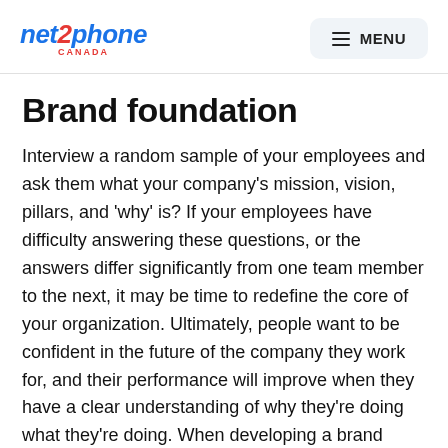net2phone CANADA | MENU
Brand foundation
Interview a random sample of your employees and ask them what your company's mission, vision, pillars, and 'why' is? If your employees have difficulty answering these questions, or the answers differ significantly from one team member to the next, it may be time to redefine the core of your organization. Ultimately, people want to be confident in the future of the company they work for, and their performance will improve when they have a clear understanding of why they're doing what they're doing. When developing a brand foundation, include your existing team